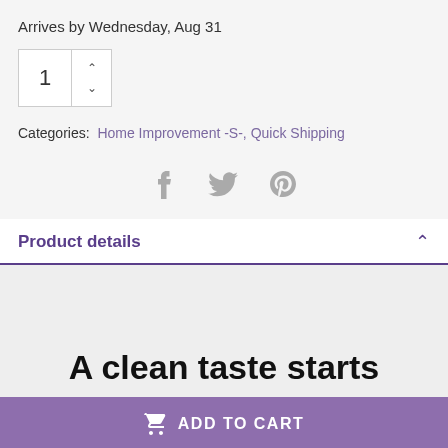Arrives by Wednesday, Aug 31
[Figure (other): Quantity selector box showing '1' with up and down chevron arrows]
Categories: Home Improvement -S-, Quick Shipping
[Figure (other): Social share icons: Facebook (f), Twitter (bird), Pinterest (P)]
Product details
A clean taste starts